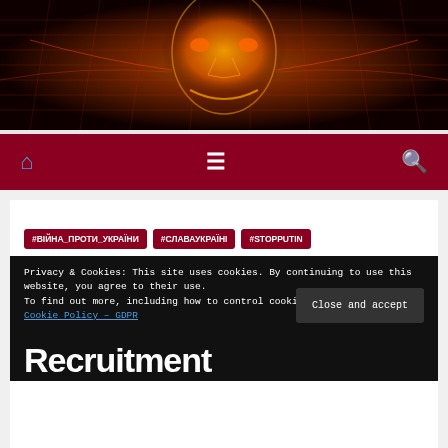[Figure (photo): Orange/red glowing digital human face against dark background with grid-like neon patterns]
[Figure (infographic): Dark red navigation bar with blue home icon, white hamburger menu icon, and white search icon]
#ВІЙНА_ПРОТИ_УКРАЇНИ
#СЛАВАУКРАЇНІ
#STOPPUTIN
Privacy & Cookies: This site uses cookies. By continuing to use this website, you agree to their use.
To find out more, including how to control cookies, see here:
Cookie Policy – GDPR
Close and accept
Recruitment